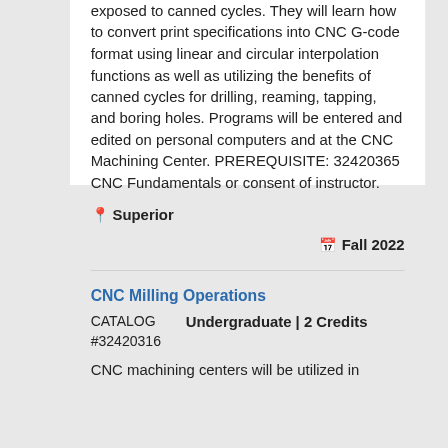exposed to canned cycles. They will learn how to convert print specifications into CNC G-code format using linear and circular interpolation functions as well as utilizing the benefits of canned cycles for drilling, reaming, tapping, and boring holes. Programs will be entered and edited on personal computers and at the CNC Machining Center. PREREQUISITE: 32420365 CNC Fundamentals or consent of instructor.
Superior
Fall 2022
CNC Milling Operations
CATALOG #32420316   Undergraduate | 2 Credits
CNC machining centers will be utilized in